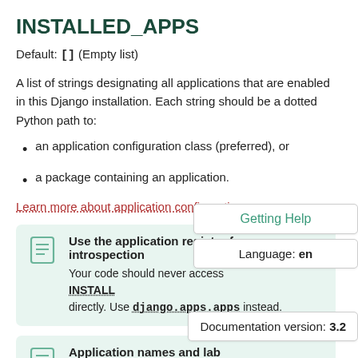INSTALLED_APPS
Default: [] (Empty list)
A list of strings designating all applications that are enabled in this Django installation. Each string should be a dotted Python path to:
an application configuration class (preferred), or
a package containing an application.
Learn more about application configurations.
Use the application registry for introspection
Your code should never access INSTALLED_APPS directly. Use django.apps.apps instead.
Getting Help
Language: en
Application names and labels are stored in INSTALLED_APPS
Documentation version: 3.2